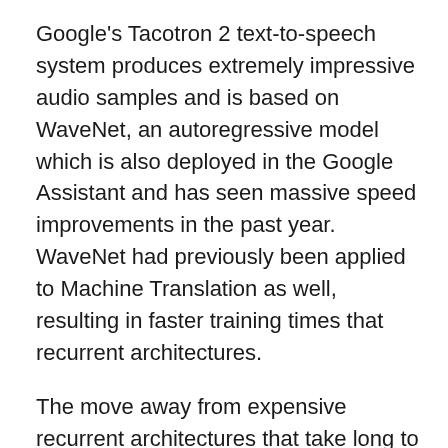Google's Tacotron 2 text-to-speech system produces extremely impressive audio samples and is based on WaveNet, an autoregressive model which is also deployed in the Google Assistant and has seen massive speed improvements in the past year. WaveNet had previously been applied to Machine Translation as well, resulting in faster training times that recurrent architectures.
The move away from expensive recurrent architectures that take long to train seems to be larger trend in Machine Learning subfields. In Attention is All you Need, researchers get rid of recurrence and convolutions entirely, and use a more sophisticated attention mechanism to achieve state of the art results at a fraction of the training costs.
If I had to summarize 2017 in one sentence, it would be the year of frameworks. Facebook made a big splash with PyTorch. Researchers have shown strong results leading to...